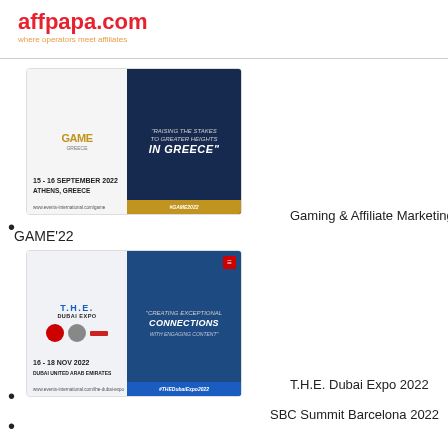affpapa.com
where operators meet affiliates
[Figure (photo): Gaming & Affiliate Marketing Expo GAME'22 event banner showing the GAME Greece logo, city skyline of Athens at night, text 'RAISING THE STAKES TO GREATER HEIGHTS IN GREECE', date 15-16 September 2022, Athens, Greece]
Gaming & Affiliate Marketing Expo GAME'22
[Figure (photo): T.H.E. Dubai Expo 2022 event banner showing The Dubai Expo logo, city skyline of Dubai at dusk, text 'CREATING EXCEPTIONAL CONNECTIONS WITH ENGAGING CONTENT', date 16-18 Nov 2022, Dubai United Arab Emirates]
T.H.E. Dubai Expo 2022
SBC Summit Barcelona 2022